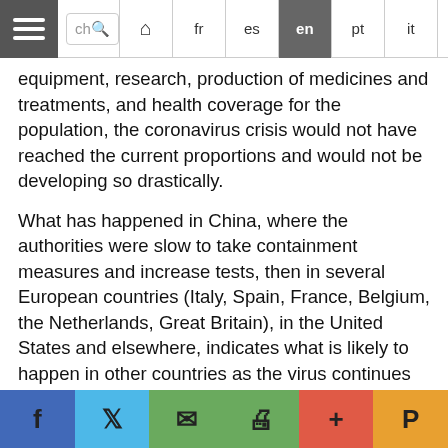Navigation bar with hamburger menu, search box, and language links: fr, es, en (active), pt, it, de, Arabic
equipment, research, production of medicines and treatments, and health coverage for the population, the coronavirus crisis would not have reached the current proportions and would not be developing so drastically.
What has happened in China, where the authorities were slow to take containment measures and increase tests, then in several European countries (Italy, Spain, France, Belgium, the Netherlands, Great Britain), in the United States and elsewhere, indicates what is likely to happen in other countries as the virus continues to spread. In the richer countries, with much more developed public health systems, the combined effects of 40 years of neoliberal policies and the lack of preparedness of public authorities have had tragic effects. It is easy to imagine what this can lead to elsewhere. Countries in Africa, Latin America and the
Social share buttons: Facebook, Twitter, Email, Print, Plus, Pocket